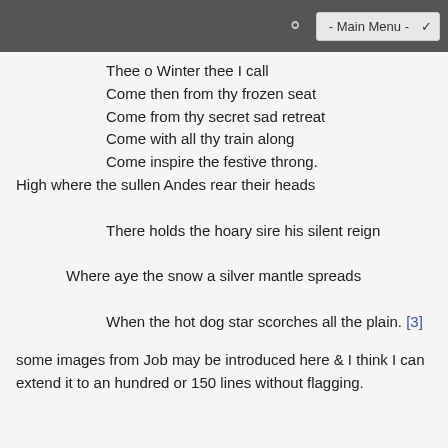- Main Menu -
Thee o Winter thee I call
Come then from thy frozen seat
Come from thy secret sad retreat
Come with all thy train along
Come inspire the festive throng.
High where the sullen Andes rear their heads
There holds the hoary sire his silent reign
Where aye the snow a silver mantle spreads
When the hot dog star scorches all the plain. [3]
some images from Job may be introduced here & I think I can extend it to an hundred or 150 lines without flagging.